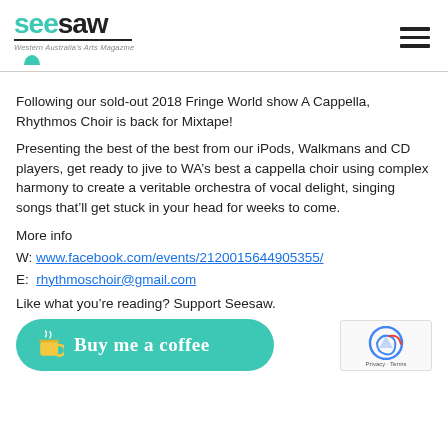seesaw - Western Australia's Arts Magazine
Following our sold-out 2018 Fringe World show A Cappella, Rhythmos Choir is back for Mixtape!
Presenting the best of the best from our iPods, Walkmans and CD players, get ready to jive to WA’s best a cappella choir using complex harmony to create a veritable orchestra of vocal delight, singing songs that’ll get stuck in your head for weeks to come.
More info
W: www.facebook.com/events/2120015644905355/
E: rhythmoschoir@gmail.com
Like what you’re reading? Support Seesaw.
[Figure (other): Buy me a coffee button - teal rounded rectangle with coffee cup icon and cursive text]